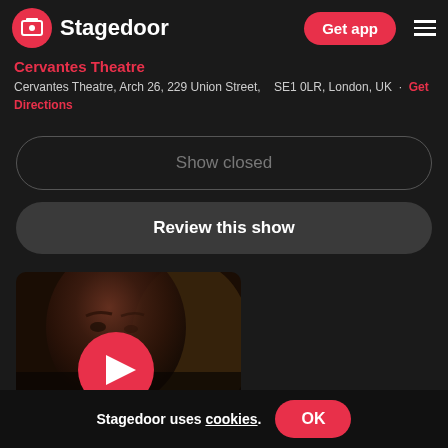Stagedoor — Get app
Cervantes Theatre
Cervantes Theatre, Arch 26, 229 Union Street, SE1 0LR, London, UK · Get Directions
Show closed
Review this show
[Figure (screenshot): Video thumbnail showing a person's face in dark red/brown tones with a large red circular play button in the center]
Stagedoor uses cookies. OK